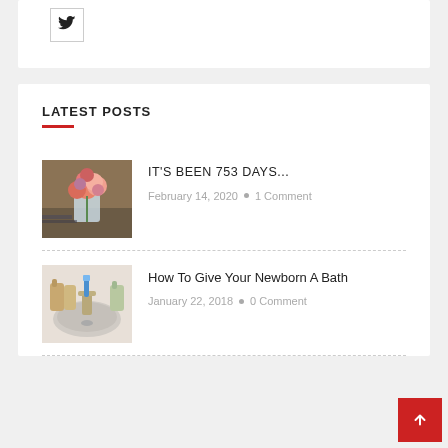[Figure (logo): Twitter bird icon in a square bordered box]
LATEST POSTS
[Figure (photo): Photo of pink and coral flowers in a glass vase on a table]
IT'S BEEN 753 DAYS...
February 14, 2020 • 1 Comment
[Figure (photo): Photo of a bathroom sink with a blue toothbrush and soap dispensers]
How To Give Your Newborn A Bath
January 22, 2018 • 0 Comment